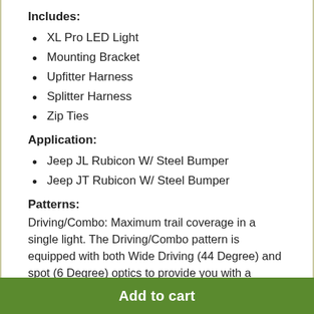Includes:
XL Pro LED Light
Mounting Bracket
Upfitter Harness
Splitter Harness
Zip Ties
Application:
Jeep JL Rubicon W/ Steel Bumper
Jeep JT Rubicon W/ Steel Bumper
Patterns:
Driving/Combo: Maximum trail coverage in a single light. The Driving/Combo pattern is equipped with both Wide Driving (44 Degree) and spot (6 Degree) optics to provide you with a smooth blend of light for both near field
Add to cart